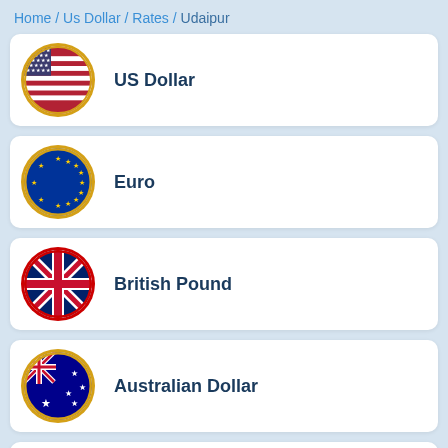Home / Us Dollar / Rates / Udaipur
US Dollar
Euro
British Pound
Australian Dollar